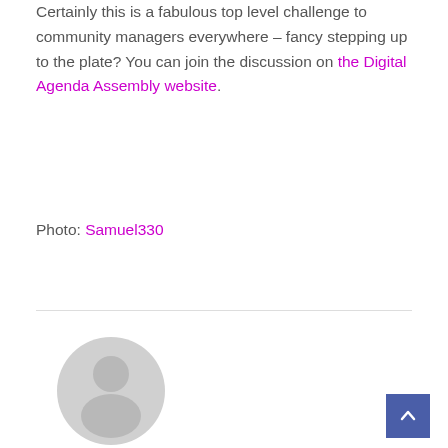Certainly this is a fabulous top level challenge to community managers everywhere – fancy stepping up to the plate? You can join the discussion on the Digital Agenda Assembly website.
Photo: Samuel330
[Figure (illustration): Generic user avatar placeholder icon — a grey circle with a smaller circle (head) and a rounded bottom shape (body silhouette)]
[Figure (other): Blue scroll-to-top button with an upward-pointing chevron arrow in the bottom-right corner]